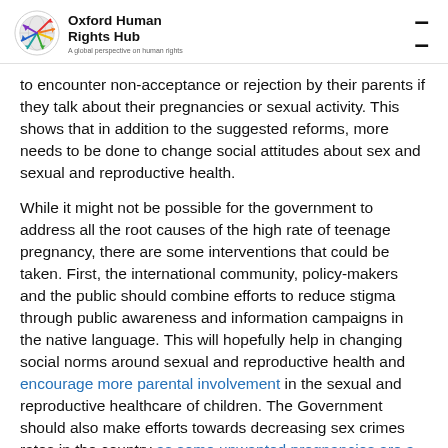Oxford Human Rights Hub — A global perspective on human rights
to encounter non-acceptance or rejection by their parents if they talk about their pregnancies or sexual activity. This shows that in addition to the suggested reforms, more needs to be done to change social attitudes about sex and sexual and reproductive health.
While it might not be possible for the government to address all the root causes of the high rate of teenage pregnancy, there are some interventions that could be taken. First, the international community, policy-makers and the public should combine efforts to reduce stigma through public awareness and information campaigns in the native language. This will hopefully help in changing social norms around sexual and reproductive health and encourage more parental involvement in the sexual and reproductive healthcare of children. The Government should also make efforts towards decreasing sex crimes rates in the country as some unwanted pregnancies are a result of rape. These, together with the suggested reforms, may help make strides towards reducing unwanted teenage pregnancy in